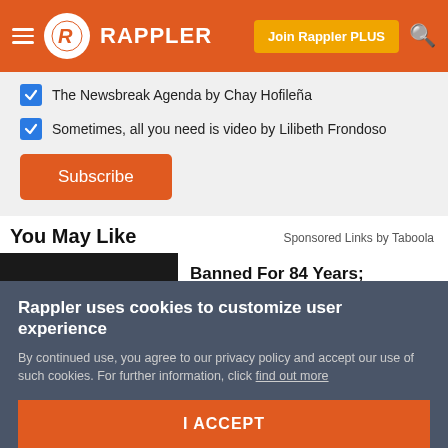RAPPLER — Join Rappler PLUS
The Newsbreak Agenda by Chay Hofileña
Sometimes, all you need is video by Lilibeth Frondoso
Subscribe
You May Like
Sponsored Links by Taboola
[Figure (photo): Hand holding a round red sugar-coated gummy/candy against dark background]
Banned For 84 Years; Powerful Pain Reliever Legalized In Virginia
Health Headlines
Rappler uses cookies to customize user experience
By continued use, you agree to our privacy policy and accept our use of such cookies. For further information, click find out more
I ACCEPT